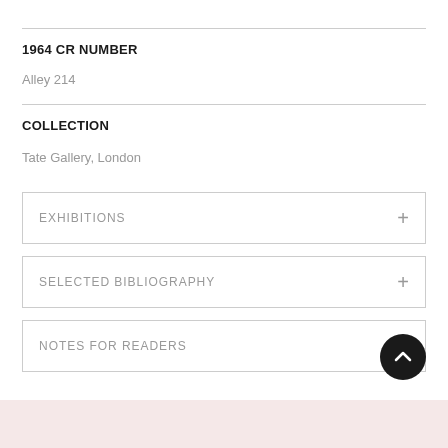1964 CR NUMBER
Alley 214
COLLECTION
Tate Gallery, London
EXHIBITIONS
SELECTED BIBLIOGRAPHY
NOTES FOR READERS